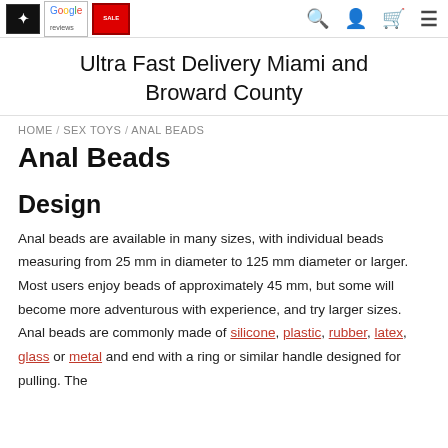Ultra Fast Delivery Miami and Broward County
HOME / SEX TOYS / ANAL BEADS
Anal Beads
Design
Anal beads are available in many sizes, with individual beads measuring from 25 mm in diameter to 125 mm diameter or larger. Most users enjoy beads of approximately 45 mm, but some will become more adventurous with experience, and try larger sizes. Anal beads are commonly made of silicone, plastic, rubber, latex, glass or metal and end with a ring or similar handle designed for pulling. The